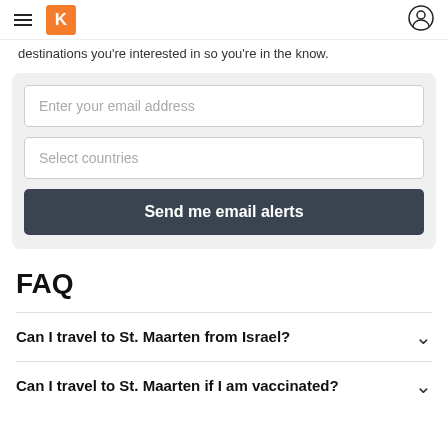K (logo) | navigation header
destinations you're interested in so you're in the know.
[Figure (screenshot): Email signup form with email address input, country selector, and 'Send me email alerts' button]
FAQ
Can I travel to St. Maarten from Israel?
Can I travel to St. Maarten if I am vaccinated?